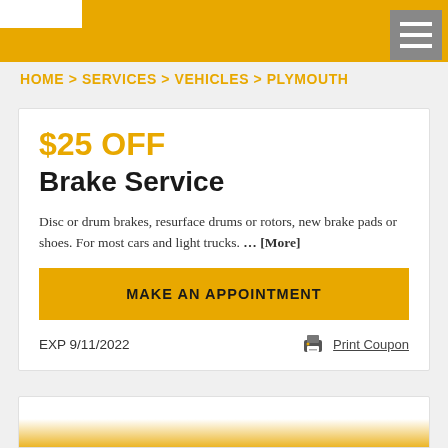HOME > SERVICES > VEHICLES > PLYMOUTH
$25 OFF
Brake Service
Disc or drum brakes, resurface drums or rotors, new brake pads or shoes. For most cars and light trucks. … [More]
MAKE AN APPOINTMENT
EXP 9/11/2022
Print Coupon